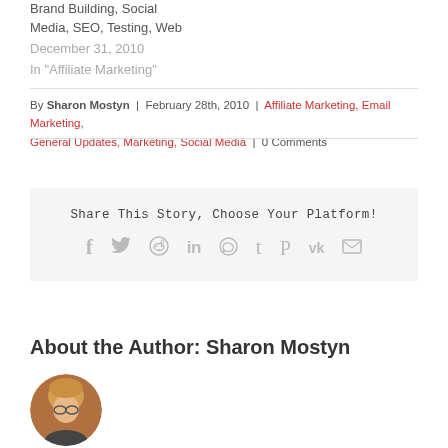Brand Building, Social Media, SEO, Testing, Web
December 31, 2010
In "Affiliate Marketing"
By Sharon Mostyn | February 28th, 2010 | Affiliate Marketing, Email Marketing, General Updates, Marketing, Social Media | 0 Comments
Share This Story, Choose Your Platform!
[Figure (infographic): Social media share icons: Facebook, Twitter, Reddit, LinkedIn, WhatsApp, Tumblr, Pinterest, VK, Email]
About the Author: Sharon Mostyn
[Figure (photo): Circular author photo of Sharon Mostyn, a blonde woman wearing glasses]